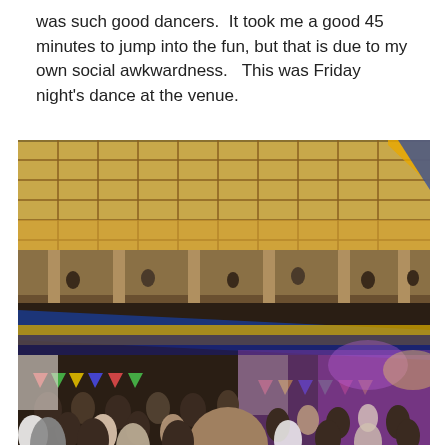was such good dancers.  It took me a good 45 minutes to jump into the fun, but that is due to my own social awkwardness.   This was Friday night's dance at the venue.
[Figure (photo): Interior of a large ballroom/dance venue. The upper level shows ornate columns, a coffered ceiling with warm yellow lighting, and a balcony with spectators. Colorful bunting and banners hang across the hall. The main floor is packed with people dancing. A stage with purple lighting is visible in the background.]